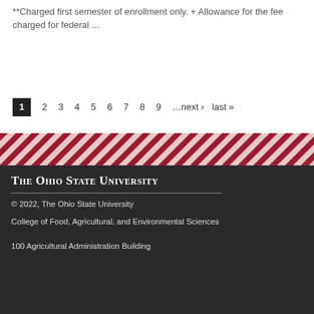**Charged first semester of enrollment only. + Allowance for the fee charged for federal ...
1 2 3 4 5 6 7 8 9 …next › last »
[Figure (other): Diagonal red and white stripe decorative banner]
The Ohio State University
© 2022, The Ohio State University
College of Food, Agricultural, and Environmental Sciences
100 Agricultural Administration Building